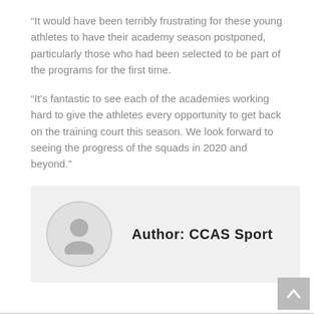“It would have been terribly frustrating for these young athletes to have their academy season postponed, particularly those who had been selected to be part of the programs for the first time.
“It’s fantastic to see each of the academies working hard to give the athletes every opportunity to get back on the training court this season. We look forward to seeing the progress of the squads in 2020 and beyond.”
[Figure (illustration): Author bio box with a generic user avatar circle icon on the left and bold text 'Author: CCAS Sport' on the right, on a light grey background.]
[Figure (other): A grey square button with a white upward arrow icon, positioned at the bottom-right corner of the page.]